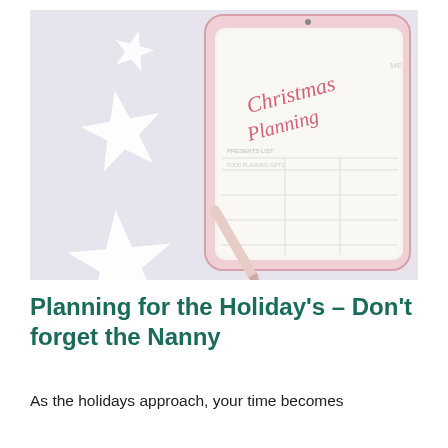[Figure (photo): A tablet showing a 'Christmas Planning' planner with decorative paper stars and a stylus pen on a light purple/lavender background.]
Planning for the Holiday's – Don't forget the Nanny
As the holidays approach, your time becomes